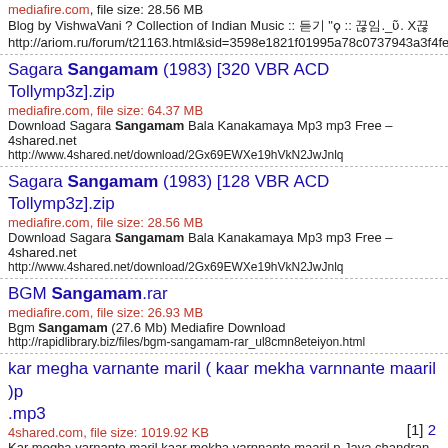mediafire.com, file size: 28.56 MB
Blog by VishwaVani ? Collection of Indian Music :: 듣기 "ϙ :: 끊임._ῦ. X끊
http://ariom.ru/forum/t21163.html&sid=3598e1821f01995a78c0737943a3f4fe
Sagara Sangamam (1983) [320 VBR ACD Tollymp3z].zip
mediafire.com, file size: 64.37 MB
Download Sagara Sangamam Bala Kanakamaya Mp3 mp3 Free – 4shared.net
http://www.4shared.net/download/2Gx69EWXe19hVkN2JwJnlq
Sagara Sangamam (1983) [128 VBR ACD Tollymp3z].zip
mediafire.com, file size: 28.56 MB
Download Sagara Sangamam Bala Kanakamaya Mp3 mp3 Free – 4shared.net
http://www.4shared.net/download/2Gx69EWXe19hVkN2JwJnlq
BGM Sangamam.rar
mediafire.com, file size: 26.93 MB
Bgm Sangamam (27.6 Mb) Mediafire Download
http://rapidlibrary.biz/files/bgm-sangamam-rar_ul8cmn8eteiyon.html
kar megha varnante maril ( kaar mekha varnnante maaril )p .mp3
4shared.com, file size: 1019.92 KB
Kar megha varnante maril kaar mekha varnnante maaril p Jaya chandran saagara s
http://www.4-shared.eu/download/7lCM1QzvORdzz1aVoVkgWd/Kar-megha-varnan-sagara-kaarmekha.html
[1] 2